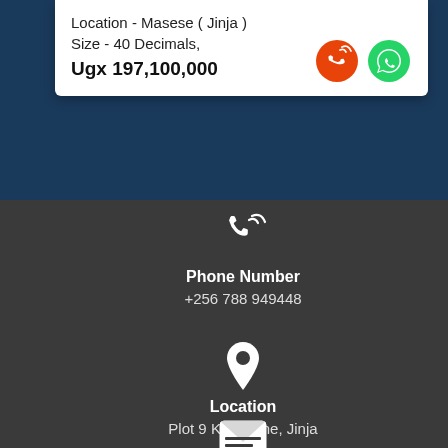Location - Masese ( Jinja )
Size - 40 Decimals,
Ugx 197,100,000
Phone Number
+256 788 949448
Location
Plot 9 Kiira Lane, Jinja